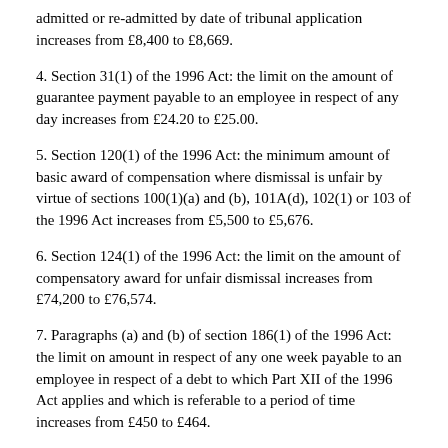admitted or re-admitted by date of tribunal application increases from £8,400 to £8,669.
4. Section 31(1) of the 1996 Act: the limit on the amount of guarantee payment payable to an employee in respect of any day increases from £24.20 to £25.00.
5. Section 120(1) of the 1996 Act: the minimum amount of basic award of compensation where dismissal is unfair by virtue of sections 100(1)(a) and (b), 101A(d), 102(1) or 103 of the 1996 Act increases from £5,500 to £5,676.
6. Section 124(1) of the 1996 Act: the limit on the amount of compensatory award for unfair dismissal increases from £74,200 to £76,574.
7. Paragraphs (a) and (b) of section 186(1) of the 1996 Act: the limit on amount in respect of any one week payable to an employee in respect of a debt to which Part XII of the 1996 Act applies and which is referable to a period of time increases from £450 to £464.